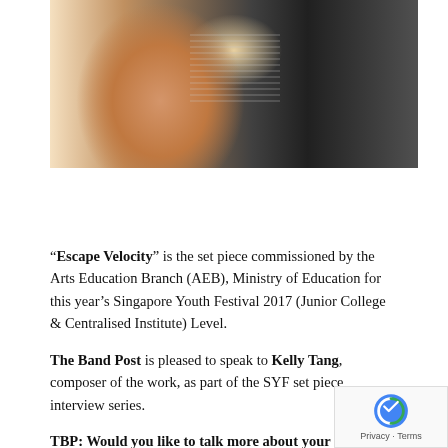[Figure (photo): Photo of a young Asian woman smiling, holding sheet music, with other people in a musical/band setting visible in the background]
“Escape Velocity” is the set piece commissioned by the Arts Education Branch (AEB), Ministry of Education for this year’s Singapore Youth Festival 2017 (Junior College & Centralised Institute) Level.
The Band Post is pleased to speak to Kelly Tang, composer of the work, as part of the SYF set piece interview series.
TBP: Would you like to talk more about your work, why the title and style?
The whole idea for the work is to convey the unfolding of music as a series of escapes. We need to have a narrative of how music should move forward –